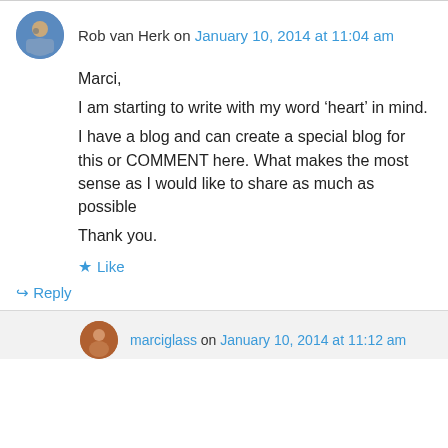Rob van Herk on January 10, 2014 at 11:04 am
Marci,
I am starting to write with my word ‘heart’ in mind.
I have a blog and can create a special blog for this or COMMENT here. What makes the most sense as I would like to share as much as possible
Thank you.
Like
Reply
marciglass on January 10, 2014 at 11:12 am